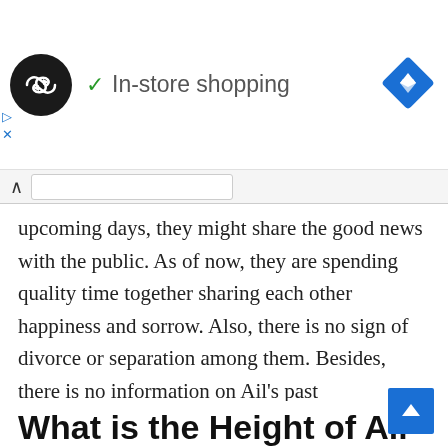[Figure (screenshot): Ad banner with dark circle logo containing double infinity/link icons, green checkmark, text 'In-store shopping', and blue navigation diamond icon on right]
upcoming days, they might share the good news with the public. As of now, they are spending quality time together sharing each other happiness and sorrow. Also, there is no sign of divorce or separation among them. Besides, there is no information on Ail’s past relationships and she has never been involved in any sorts of rumors or controversies in her personal or professional life.
What is the Height of Ali